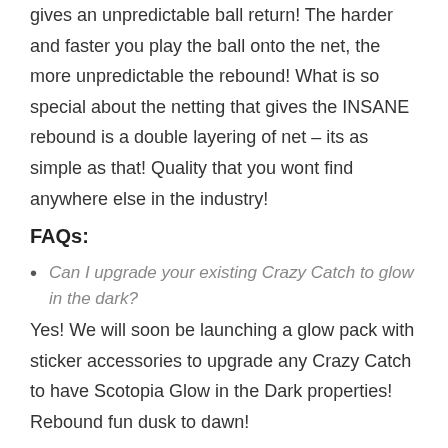gives an unpredictable ball return! The harder and faster you play the ball onto the net, the more unpredictable the rebound! What is so special about the netting that gives the INSANE rebound is a double layering of net – its as simple as that! Quality that you wont find anywhere else in the industry!
FAQs:
Can I upgrade your existing Crazy Catch to glow in the dark?
Yes! We will soon be launching a glow pack with sticker accessories to upgrade any Crazy Catch to have Scotopia Glow in the Dark properties! Rebound fun dusk to dawn!